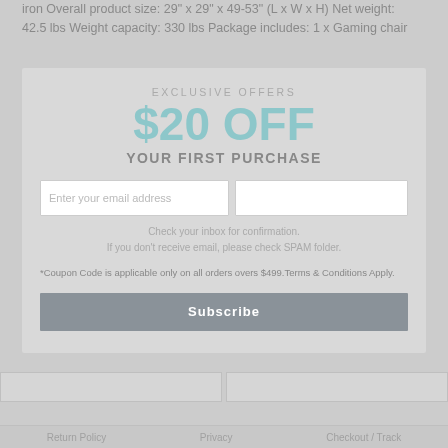iron Overall product size: 29" x 29" x 49-53" (L x W x H) Net weight: 42.5 lbs Weight capacity: 330 lbs Package includes: 1 x Gaming chair
Sku: CT_HW66641YE
Category: Chairs
Manufacturer: CT
EXCLUSIVE OFFERS
$20 OFF
YOUR FIRST PURCHASE
YOU MAY ALSO LIKE
Enter your email address
Check your inbox for confirmation.
If you don't receive email, please check SPAM folder.
*Coupon Code is applicable only on all orders overs $499.Terms & Conditions Apply.
Subscribe